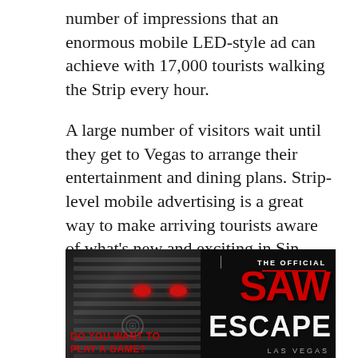number of impressions that an enormous mobile LED-style ad can achieve with 17,000 tourists walking the Strip every hour.
A large number of visitors wait until they get to Vegas to arrange their entertainment and dining plans. Strip-level mobile advertising is a great way to make arriving tourists aware of what's new and exciting in Sin City.
[Figure (photo): Advertisement for The Official SAW Escape Las Vegas, featuring the Jigsaw/Billy the Puppet mask with glowing red eyes on a dark distressed background. Red text on left reads 'DO YOU WANT TO PLAY A GAME?' Right side shows 'THE OFFICIAL' above the large red SAW logo and white ESCAPE text, with 'LAS VEGAS' below.]